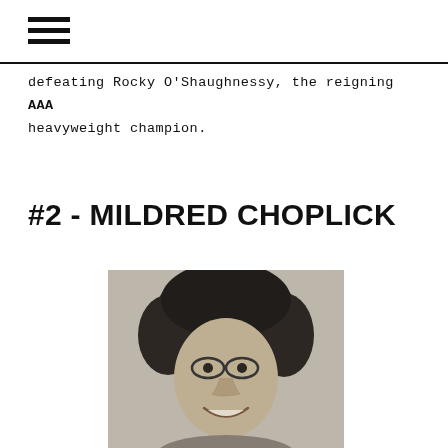≡
defeating Rocky O'Shaughnessy, the reigning AAA heavyweight champion.
#2 - MILDRED CHOPLICK
[Figure (photo): Black and white photograph of Mildred Choplick, a person with curly dark hair and glasses, smiling.]